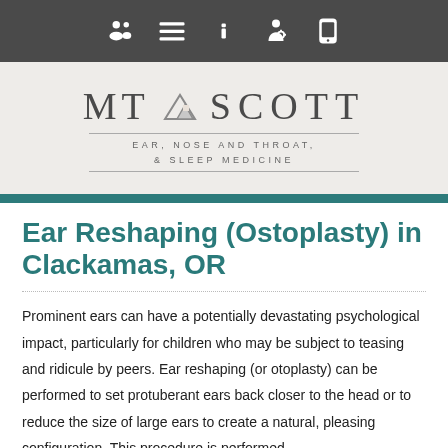[Navigation bar with icons: people, list, info, doctor, phone]
[Figure (logo): MT SCOTT Ear, Nose and Throat, & Sleep Medicine logo with mountain graphic]
Ear Reshaping (Ostoplasty) in Clackamas, OR
Prominent ears can have a potentially devastating psychological impact, particularly for children who may be subject to teasing and ridicule by peers. Ear reshaping (or otoplasty) can be performed to set protuberant ears back closer to the head or to reduce the size of large ears to create a natural, pleasing configuration. This procedure is performed